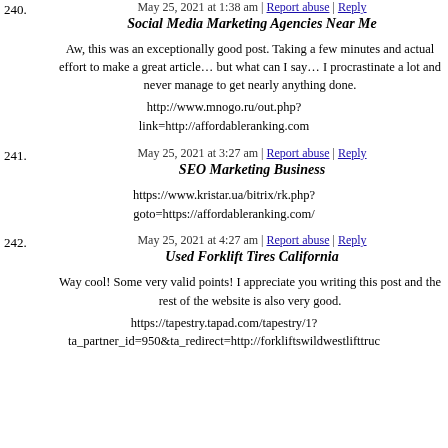May 25, 2021 at 1:38 am | Report abuse | Reply
240. Social Media Marketing Agencies Near Me
Aw, this was an exceptionally good post. Taking a few minutes and actual effort to make a great article… but what can I say… I procrastinate a lot and never manage to get nearly anything done.
http://www.mnogo.ru/out.php?link=http://affordableranking.com
May 25, 2021 at 3:27 am | Report abuse | Reply
241. SEO Marketing Business
https://www.kristar.ua/bitrix/rk.php?goto=https://affordableranking.com/
May 25, 2021 at 4:27 am | Report abuse | Reply
242. Used Forklift Tires California
Way cool! Some very valid points! I appreciate you writing this post and the rest of the website is also very good.
https://tapestry.tapad.com/tapestry/1?ta_partner_id=950&ta_redirect=http://forkliftswildwesttru...